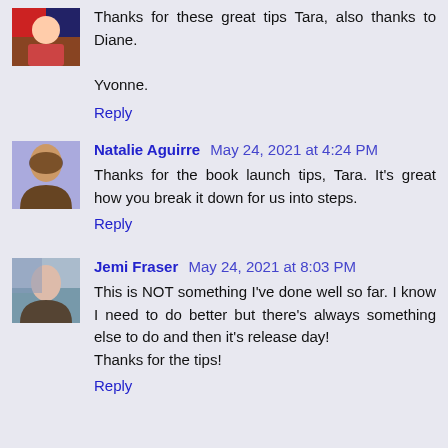Thanks for these great tips Tara, also thanks to Diane.

Yvonne.
Reply
Natalie Aguirre May 24, 2021 at 4:24 PM
Thanks for the book launch tips, Tara. It's great how you break it down for us into steps.
Reply
Jemi Fraser May 24, 2021 at 8:03 PM
This is NOT something I've done well so far. I know I need to do better but there's always something else to do and then it's release day!
Thanks for the tips!
Reply